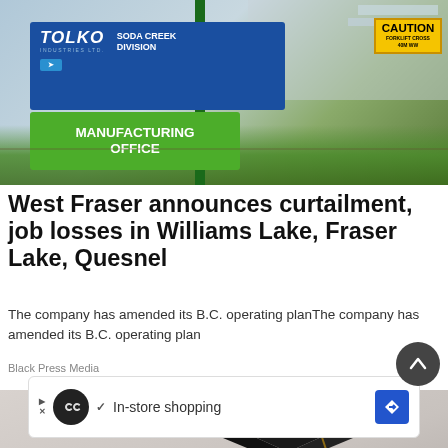[Figure (photo): Tolko Industries Soda Creek Division Manufacturing Office sign at a lumber yard facility with grass and construction materials in background]
West Fraser announces curtailment, job losses in Williams Lake, Fraser Lake, Quesnel
The company has amended its B.C. operating planThe company has amended its B.C. operating plan
Black Press Media
[Figure (photo): Person wearing graduation cap and gown, upper body visible against gray background]
In-store shopping